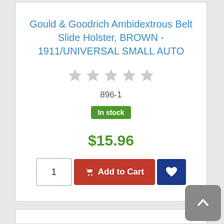Gould & Goodrich Ambidextrous Belt Slide Holster, BROWN - 1911/UNIVERSAL SMALL AUTO
896-1
In stock
$15.96
1  Add to Cart  ♥